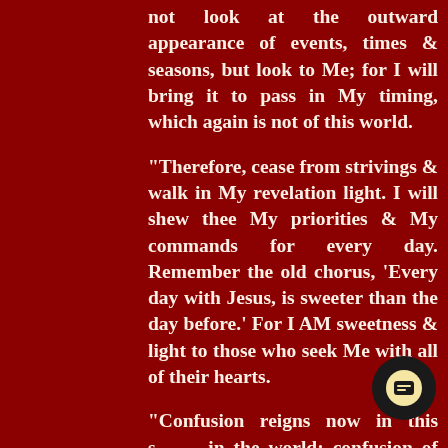not look at the outward appearance of events, times & seasons, but look to Me; for I will bring it to pass in My timing, which again is not of this world.
“Therefore, cease from strivings & walk in My revelation light. I will shew thee My priorities & My commands for every day. Remember the old chorus, ‘Every day with Jesus, is sweeter than the day before.’ For I AM sweetness & light to those who seek Me with all of their hearts.
“Confusion reigns now in this s— in the world; confusion of fa— everywhere, along with fear – both